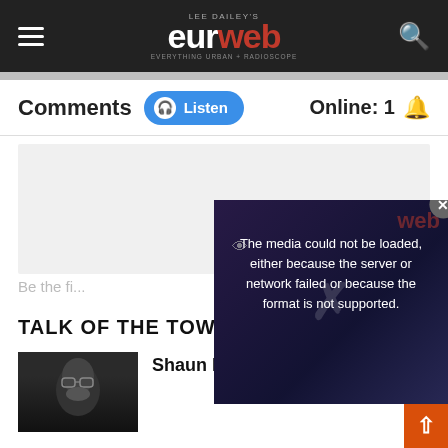LEE DAILEY'S eurweb EVERYTHING URBAN + RADIOSCOPE
Comments | Listen | Online: 1
[Figure (screenshot): Empty comment area placeholder (light gray box)]
Be the fi...
[Figure (screenshot): Video error popup: The media could not be loaded, either because the server or network failed or because the format is not supported. Overlay with X mark and close button.]
TALK OF THE TOWN
[Figure (photo): Thumbnail image of a man with glasses and beard on dark background]
Shaun King Responds to